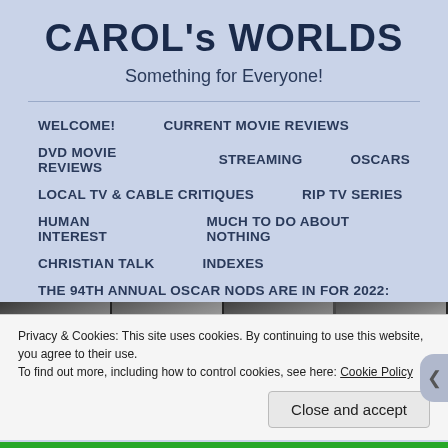CAROL's WORLDS
Something for Everyone!
WELCOME!    CURRENT MOVIE REVIEWS
DVD MOVIE REVIEWS    STREAMING    OSCARS
LOCAL TV & CABLE CRITIQUES    RIP TV SERIES
HUMAN INTEREST    MUCH TO DO ABOUT NOTHING
CHRISTIAN TALK    INDEXES
THE 94TH ANNUAL OSCAR NODS ARE IN FOR 2022:
[Figure (photo): Black and white strip of portrait photographs of people]
Privacy & Cookies: This site uses cookies. By continuing to use this website, you agree to their use.
To find out more, including how to control cookies, see here: Cookie Policy
Close and accept